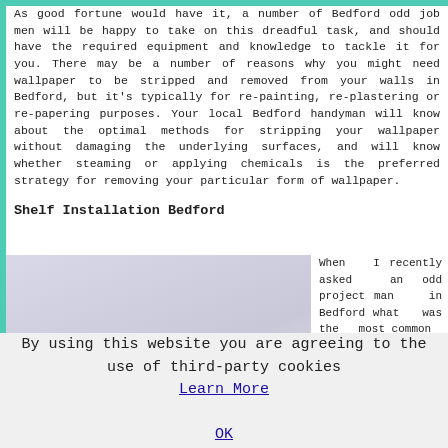As good fortune would have it, a number of Bedford odd job men will be happy to take on this dreadful task, and should have the required equipment and knowledge to tackle it for you. There may be a number of reasons why you might need wallpaper to be stripped and removed from your walls in Bedford, but it's typically for re-painting, re-plastering or re-papering purposes. Your local Bedford handyman will know about the optimal methods for stripping your wallpaper without damaging the underlying surfaces, and will know whether steaming or applying chemicals is the preferred strategy for removing your particular form of wallpaper.
Shelf Installation Bedford
[Figure (photo): A light grey/blue background photo showing a floating shelf]
When I recently asked an odd project man in Bedford what was the most common
By using this website you are agreeing to the use of third-party cookies Learn More OK